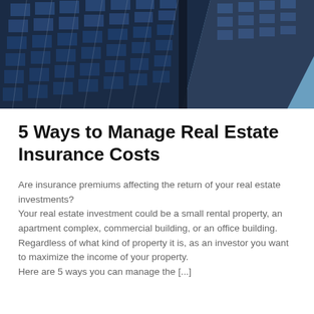[Figure (photo): Looking up at a tall glass and concrete office building facade against a blue sky, angled perspective showing grid of blue-tinted windows]
5 Ways to Manage Real Estate Insurance Costs
Are insurance premiums affecting the return of your real estate investments?
Your real estate investment could be a small rental property, an apartment complex, commercial building, or an office building. Regardless of what kind of property it is, as an investor you want to maximize the income of your property.
Here are 5 ways you can manage the [...]